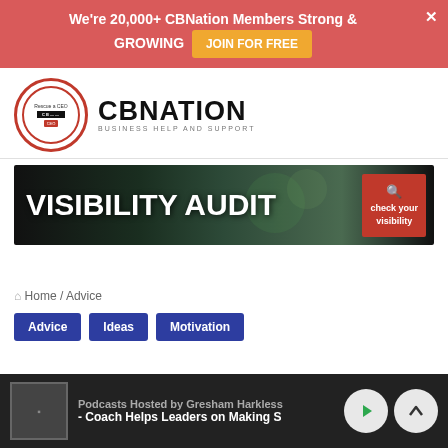We're 20,000+ CBNation Members Strong & GROWING  JOIN FOR FREE
[Figure (logo): CBNation logo with circular badge and wordmark reading CBNATION - Business Help and Support]
[Figure (infographic): Visibility Audit banner with dark background, bold white text VISIBILITY AUDIT and red badge saying check your visibility]
Home / Advice
Advice
Ideas
Motivation
Podcasts Hosted by Gresham Harkless - Coach Helps Leaders on Making S